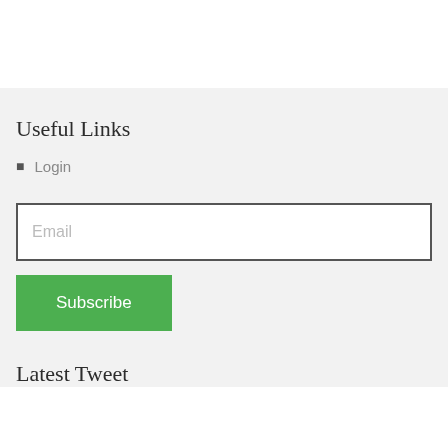Useful Links
Login
Email
Subscribe
Latest Tweet